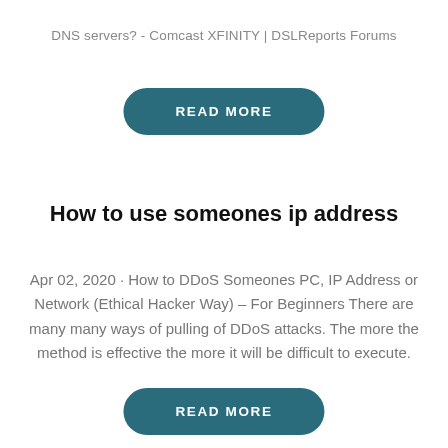DNS servers? - Comcast XFINITY | DSLReports Forums
[Figure (other): READ MORE button (teal rounded rectangle)]
How to use someones ip address
Apr 02, 2020 · How to DDoS Someones PC, IP Address or Network (Ethical Hacker Way) – For Beginners There are many many ways of pulling of DDoS attacks. The more the method is effective the more it will be difficult to execute.
[Figure (other): READ MORE button (teal rounded rectangle)]